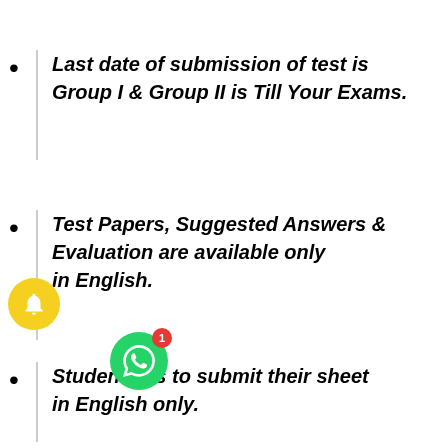Last date of submission of test is Group I & Group II is Till Your Exams.
Test Papers, Suggested Answers & Evaluation are available only in English.
Student has to submit their sheet in English only.